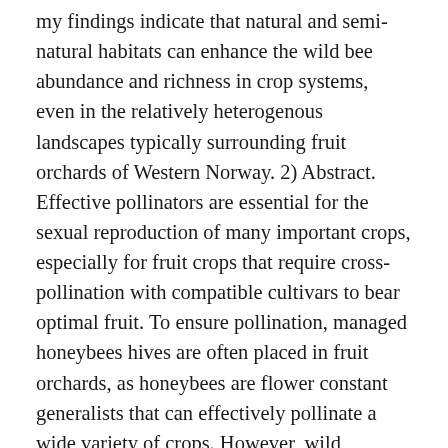my findings indicate that natural and semi-natural habitats can enhance the wild bee abundance and richness in crop systems, even in the relatively heterogenous landscapes typically surrounding fruit orchards of Western Norway. 2) Abstract. Effective pollinators are essential for the sexual reproduction of many important crops, especially for fruit crops that require cross-pollination with compatible cultivars to bear optimal fruit. To ensure pollination, managed honeybees hives are often placed in fruit orchards, as honeybees are flower constant generalists that can effectively pollinate a wide variety of crops. However, wild pollinators can act as pollination insurance if honeybee colonies fail. In addition, many wild pollinators are more effective pollinators on a per visit basis. In Norway, the relative importance of different pollinator groups has received little attention. In this study I compared the visitation frequency and foraging behavior between managed honeybees and wild bees in two fruit orchards producing apple and pear fruit. I found that honeybees likely are the most important pollinators of pear